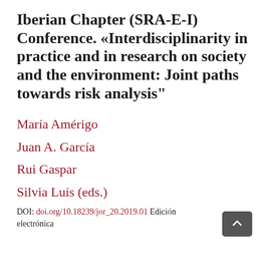Iberian Chapter (SRA-E-I) Conference. «Interdisciplinarity in practice and in research on society and the environment: Joint paths towards risk analysis"
María Amérigo
Juan A. García
Rui Gaspar
Silvia Luís (eds.)
DOI: doi.org/10.18239/jor_20.2019.01 Edición electrónica